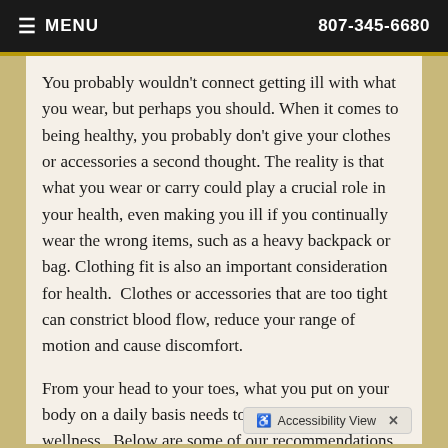MENU  807-345-6680
You probably wouldn't connect getting ill with what you wear, but perhaps you should. When it comes to being healthy, you probably don't give your clothes or accessories a second thought. The reality is that what you wear or carry could play a crucial role in your health, even making you ill if you continually wear the wrong items, such as a heavy backpack or bag. Clothing fit is also an important consideration for health.  Clothes or accessories that are too tight can constrict blood flow, reduce your range of motion and cause discomfort.
From your head to your toes, what you put on your body on a daily basis needs to be considered for total wellness.  Below are some of our recommendations for back saving wear.